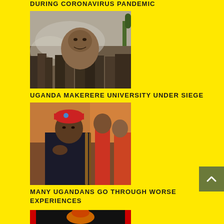DURING CORONAVIRUS PANDEMIC
[Figure (photo): Crowd of people with a large portrait/poster visible amid smoke or dust, protest scene]
UGANDA MAKERERE UNIVERSITY UNDER SIEGE
[Figure (photo): Man wearing a red beret with people behind him, seated in what appears to be a court or vehicle]
MANY UGANDANS GO THROUGH WORSE EXPERIENCES
[Figure (photo): Partial view of a figure between two red vertical bars on a dark background]